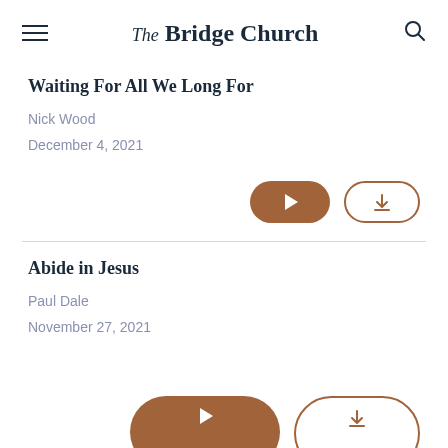The Bridge Church
Waiting For All We Long For
Nick Wood
December 4, 2021
Abide in Jesus
Paul Dale
November 27, 2021